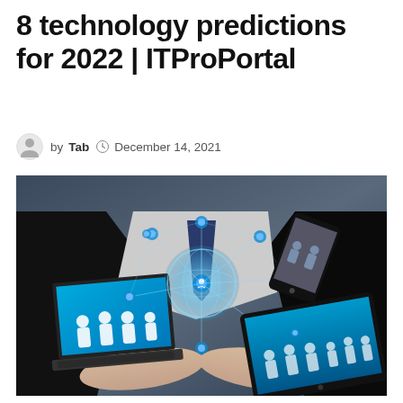8 technology predictions for 2022 | ITProPortal
by Tab  December 14, 2021
[Figure (photo): A person in a dark suit holding up glowing digital devices including a laptop, smartphone, and tablet connected by a network globe illustration with people silhouettes]